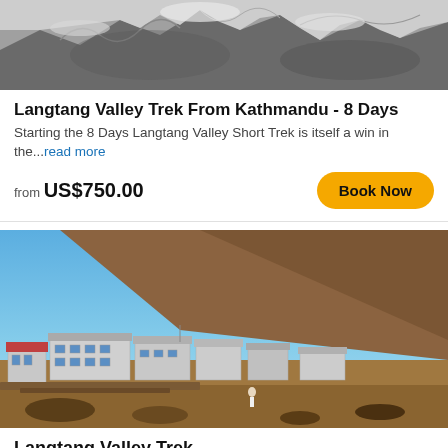[Figure (photo): Aerial/close-up view of snow-covered mountain glacier, grayscale tones with rocky ice features]
Langtang Valley Trek From Kathmandu - 8 Days
Starting the 8 Days Langtang Valley Short Trek is itself a win in the...read more
from US$750.00
[Figure (photo): Wide landscape photo of Langtang Valley showing a mountain village with stone buildings, brown hillside, and snow-capped Himalayan peaks under blue sky]
Langtang Valley Trek
2 reviews